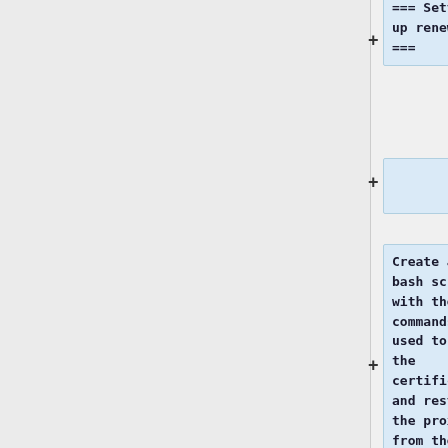[Figure (screenshot): A diff/change view UI showing code blocks with blue highlighted text. Top block shows '=== Setting up renewal ===' with a + sign. Middle block is an empty addition line. Bottom block shows text 'Create a new bash script with the commands used to copy the certificate and restart the proxy from the previous step and make it executable, lets assume that you put it into' with a + sign marker.]